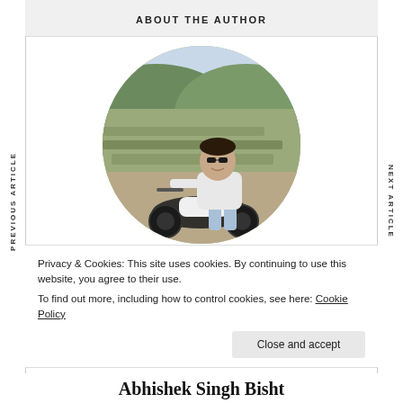ABOUT THE AUTHOR
[Figure (photo): Circular cropped photo of a young man wearing sunglasses and a white shirt, sitting on a Royal Enfield motorcycle on a mountain road with terraced hills in the background]
Privacy & Cookies: This site uses cookies. By continuing to use this website, you agree to their use.
To find out more, including how to control cookies, see here: Cookie Policy
Close and accept
Abhishek Singh Bisht